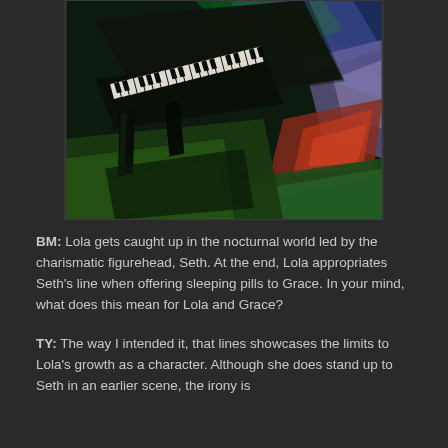[Figure (illustration): An expressionist painting of a grand piano viewed from above at an angle, with dark greens and blacks dominating the left side showing the piano keys and legs, and an abstract colorful background of blues, purples, reds, and greens on the right.]
BM: Lola gets caught up in the nocturnal world led by the charismatic figurehead, Seth. At the end, Lola appropriates Seth's line when offering sleeping pills to Grace. In your mind, what does this mean for Lola and Grace?
TY: The way I intended it, that lines showcases the limits to Lola's growth as a character. Although she does stand up to Seth in an earlier scene, the irony is